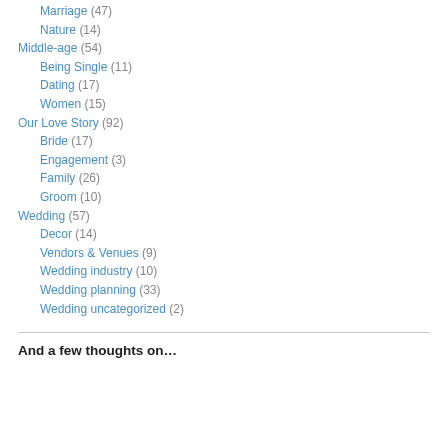Marriage (47)
Nature (14)
Middle-age (54)
Being Single (11)
Dating (17)
Women (15)
Our Love Story (92)
Bride (17)
Engagement (3)
Family (26)
Groom (10)
Wedding (57)
Decor (14)
Vendors & Venues (9)
Wedding industry (10)
Wedding planning (33)
Wedding uncategorized (2)
And a few thoughts on…